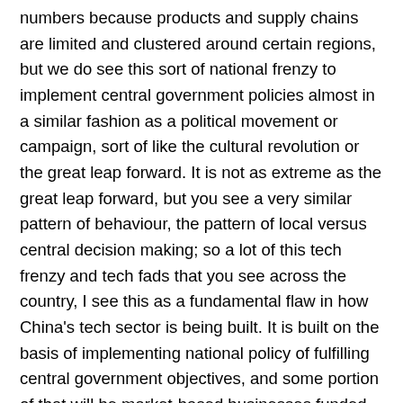numbers because products and supply chains are limited and clustered around certain regions, but we do see this sort of national frenzy to implement central government policies almost in a similar fashion as a political movement or campaign, sort of like the cultural revolution or the great leap forward. It is not as extreme as the great leap forward, but you see a very similar pattern of behaviour, the pattern of local versus central decision making; so a lot of this tech frenzy and tech fads that you see across the country, I see this as a fundamental flaw in how China's tech sector is being built. It is built on the basis of implementing national policy of fulfilling central government objectives, and some portion of that will be market-based businesses funded with private investors selling to real clients, but a lot of